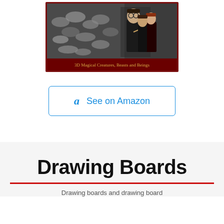[Figure (photo): Harry Potter puzzle box image showing '3D Magical Creatures, Beasts and Beings' with Harry Potter characters and creatures, framed with dark red border]
See on Amazon
Drawing Boards
Drawing boards and drawing board